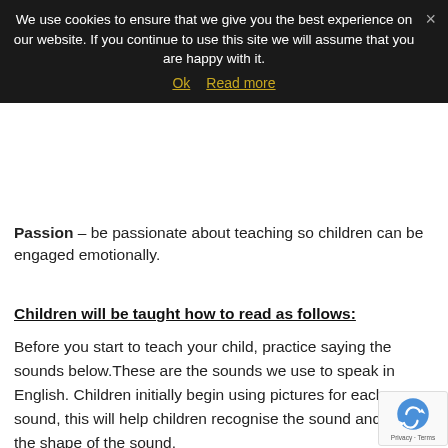We use cookies to ensure that we give you the best experience on our website. If you continue to use this site we will assume that you are happy with it.
Ok   Read more
Passion – be passionate about teaching so children can be engaged emotionally.
Children will be taught how to read as follows:
Before you start to teach your child, practice saying the sounds below.These are the sounds we use to speak in English. Children initially begin using pictures for each sound, this will help children recognise the sound and form the shape of the sound.